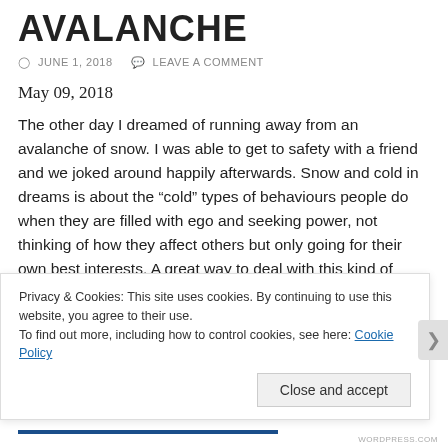AVALANCHE
© JUNE 1, 2018   ☞ LEAVE A COMMENT
May 09, 2018
The other day I dreamed of running away from an avalanche of snow. I was able to get to safety with a friend and we joked around happily afterwards. Snow and cold in dreams is about the "cold" types of behaviours people do when they are filled with ego and seeking power, not thinking of how they affect others but only going for their own best interests. A great way to deal with this kind of issue in real life with people is to become like a "positive avalanche" sharing an abundance of
Privacy & Cookies: This site uses cookies. By continuing to use this website, you agree to their use.
To find out more, including how to control cookies, see here: Cookie Policy
Close and accept